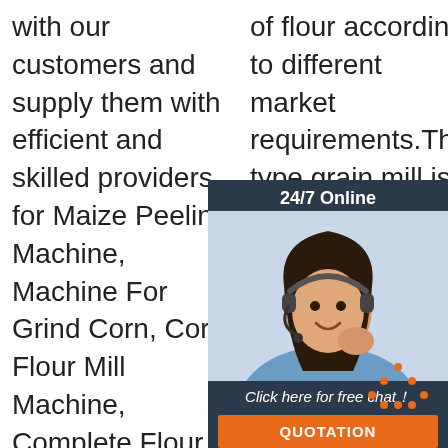with our customers and supply them with efficient and skilled providers for Maize Peeling Machine, Machine For Grind Corn, Corn Flour Mill Machine, Complete Flour Mill Milling Machine,Corn Grinder Machine.
of flour according to different market requirements.This type grain mill is compact structure, mainly for home use, the flour mill machine with the advantages of low cost, easy to operate, high production,low ...
milling machine, it is composed by a feeding hopper do... gr... gr... m... an... fra...
[Figure (other): Live chat widget overlay showing a customer service representative with headset. Dark navy background with '24/7 Online' header, photo of smiling woman with headset, 'Click here for free chat!' text, orange QUOTATION button, and orange 'Get Price' button.]
[Figure (other): Orange dotted triangle 'TOP' scroll-to-top button in bottom right corner.]